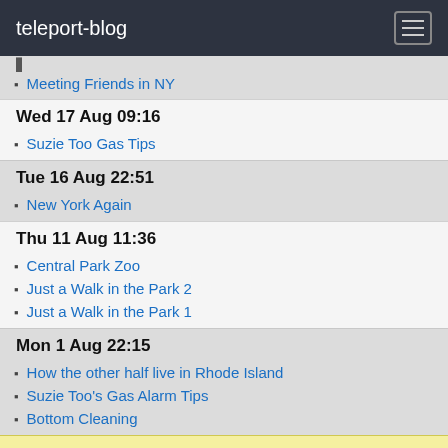teleport-blog
Meeting Friends in NY
Wed 17 Aug 09:16
Suzie Too Gas Tips
Tue 16 Aug 22:51
New York Again
Thu 11 Aug 11:36
Central Park Zoo
Just a Walk in the Park 2
Just a Walk in the Park 1
Mon 1 Aug 22:15
How the other half live in Rhode Island
Suzie Too's Gas Alarm Tips
Bottom Cleaning
Jul 2011
Sun 31 Jul 21:20
Newport Rhode Island 41:29.70EN 71:19.742W